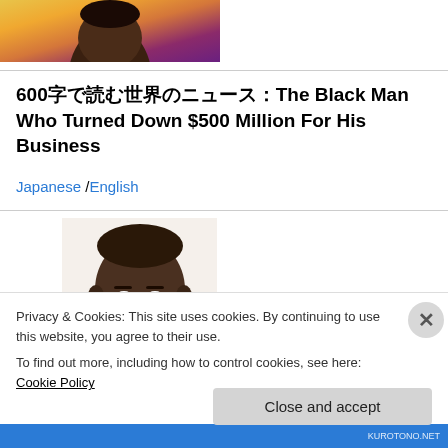[Figure (photo): Cropped photo of a woman with colorful background, only top portion visible]
600字で読む世界のニュース：The Black Man Who Turned Down $500 Million For His Business
Japanese /English
[Figure (photo): Photo of a Black man's face looking forward, close-up portrait]
Privacy & Cookies: This site uses cookies. By continuing to use this website, you agree to their use.
To find out more, including how to control cookies, see here: Cookie Policy
Close and accept